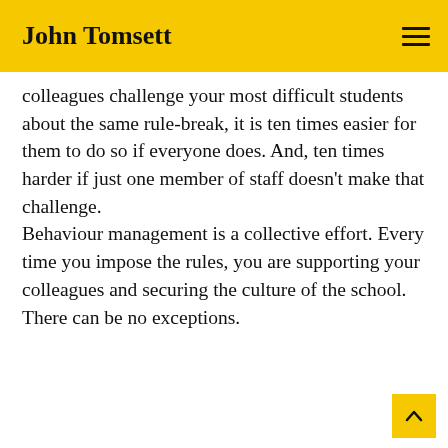John Tomsett
colleagues challenge your most difficult students about the same rule-break, it is ten times easier for them to do so if everyone does. And, ten times harder if just one member of staff doesn't make that challenge.
Behaviour management is a collective effort. Every time you impose the rules, you are supporting your colleagues and securing the culture of the school. There can be no exceptions.